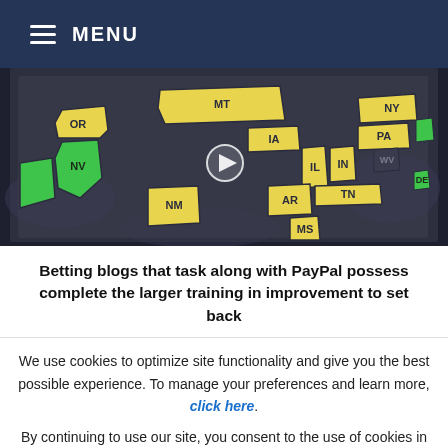MENU
[Figure (map): Interactive US map showing states highlighted in yellow and green, representing sports betting legality. States visible include OR, MT, NV, NM, IA, IL, AR, MS, IN, TN, PA, NY, WV, DE, and others. A play button is visible in the center.]
Betting blogs that task along with PayPal possess complete the larger training in improvement to set back
We use cookies to optimize site functionality and give you the best possible experience. To manage your preferences and learn more, click here.
By continuing to use our site, you consent to the use of cookies in according with our po
English